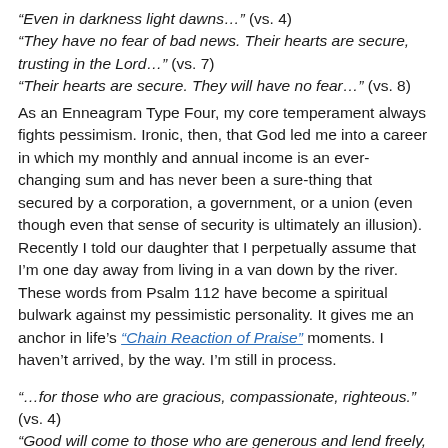“Even in darkness light dawns…” (vs. 4)
“They have no fear of bad news. Their hearts are secure, trusting in the Lord…” (vs. 7)
“Their hearts are secure. They will have no fear…” (vs. 8)
As an Enneagram Type Four, my core temperament always fights pessimism. Ironic, then, that God led me into a career in which my monthly and annual income is an ever-changing sum and has never been a sure-thing that secured by a corporation, a government, or a union (even though even that sense of security is ultimately an illusion). Recently I told our daughter that I perpetually assume that I’m one day away from living in a van down by the river. These words from Psalm 112 have become a spiritual bulwark against my pessimistic personality. It gives me an anchor in life’s “Chain Reaction of Praise” moments. I haven’t arrived, by the way. I’m still in process.
“…for those who are gracious, compassionate, righteous.” (vs. 4)
“Good will come to those who are generous and lend freely, who conduct their affairs with justice…” (vs. 5)